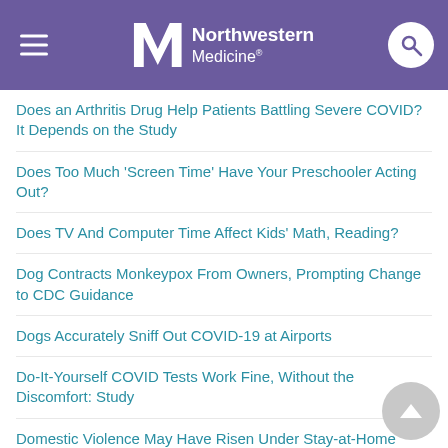Northwestern Medicine
Does an Arthritis Drug Help Patients Battling Severe COVID? It Depends on the Study
Does Too Much 'Screen Time' Have Your Preschooler Acting Out?
Does TV And Computer Time Affect Kids' Math, Reading?
Dog Contracts Monkeypox From Owners, Prompting Change to CDC Guidance
Dogs Accurately Sniff Out COVID-19 at Airports
Do-It-Yourself COVID Tests Work Fine, Without the Discomfort: Study
Domestic Violence May Have Risen Under Stay-at-Home Rules
Don't Believe Vaccine Myths